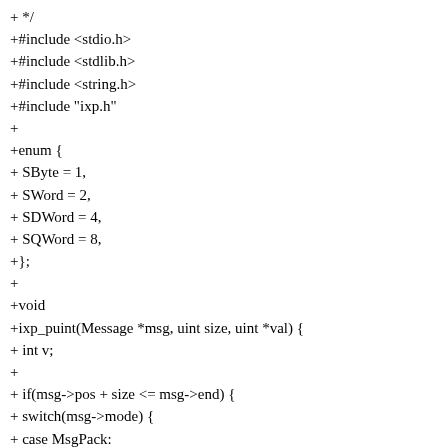+ */
+#include <stdio.h>
+#include <stdlib.h>
+#include <string.h>
+#include "ixp.h"
+
+enum {
+ SByte = 1,
+ SWord = 2,
+ SDWord = 4,
+ SQWord = 8,
+};
+
+void
+ixp_puint(Message *msg, uint size, uint *val) {
+ int v;
+
+ if(msg->pos + size <= msg->end) {
+ switch(msg->mode) {
+ case MsgPack:
+ v = *val;
+ switch(size) {
+ case SDWord:
+ msg->pos[3] = v>>24;
+ msg->pos[2] = v>>16;
+ + case SWord: